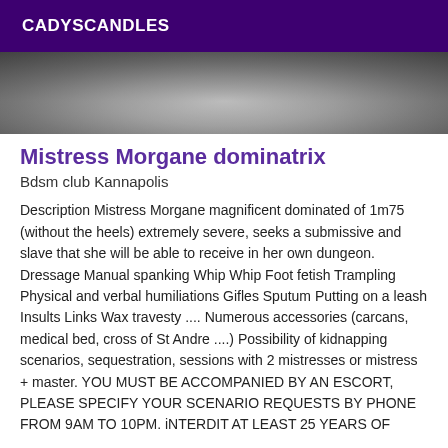CADYSCANDLES
[Figure (photo): Partial grayscale photo showing a blurred figure, cropped at top]
Mistress Morgane dominatrix
Bdsm club Kannapolis
Description Mistress Morgane magnificent dominated of 1m75 (without the heels) extremely severe, seeks a submissive and slave that she will be able to receive in her own dungeon. Dressage Manual spanking Whip Whip Foot fetish Trampling Physical and verbal humiliations Gifles Sputum Putting on a leash Insults Links Wax travesty .... Numerous accessories (carcans, medical bed, cross of St Andre ....) Possibility of kidnapping scenarios, sequestration, sessions with 2 mistresses or mistress + master. YOU MUST BE ACCOMPANIED BY AN ESCORT, PLEASE SPECIFY YOUR SCENARIO REQUESTS BY PHONE FROM 9AM TO 10PM. iNTERDIT AT LEAST 25 YEARS OF